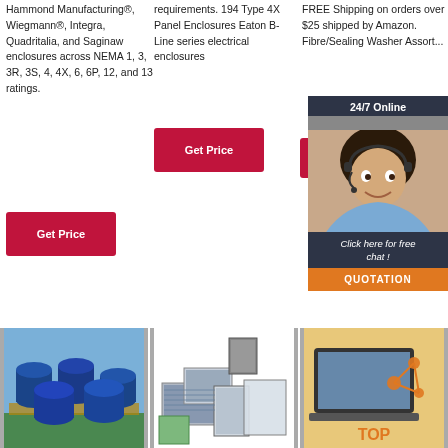Hammond Manufacturing®, Wiegmann®, Integra, Quadritalia, and Saginaw enclosures across NEMA 1, 3, 3R, 3S, 4, 4X, 6, 6P, 12, and 13 ratings.
Get Price
requirements. 194 Type 4X Panel Enclosures Eaton B-Line series electrical enclosures
Get Price
FREE Shipping on orders over $25 shipped by Amazon. Fibre/Sealing Washer Assort...
Get...
[Figure (infographic): 24/7 Online chat widget with customer service representative photo, 'Click here for free chat!', and QUOTATION button]
[Figure (photo): Blue industrial drums/barrels stacked in a warehouse]
[Figure (photo): Various air filter products arranged together]
[Figure (photo): Laptop with orange network/TOP logo overlay]